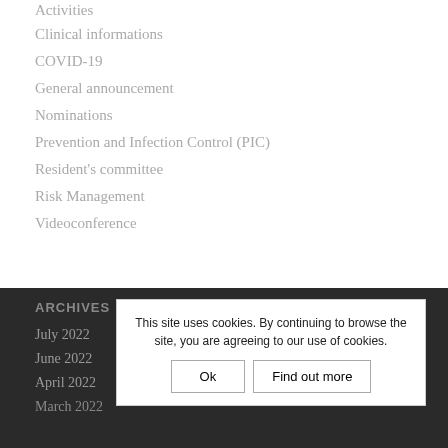Activities
Clinical informations
COVID-19
General announcement
Nominations
Prevention and Infection Control (PIC)
Resident's committee
Risk Management
Videoconference
ARCHIVES
July 2022
June 2022
April 2022
March 2022
This site uses cookies. By continuing to browse the site, you are agreeing to our use of cookies.
Ok
Find out more